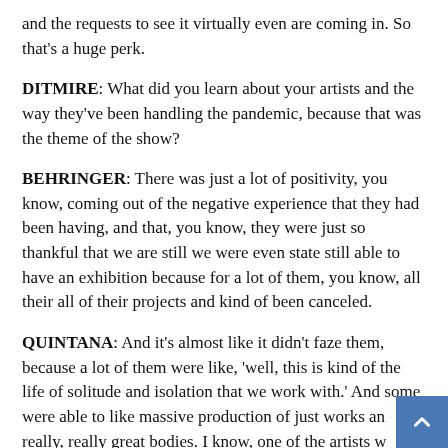and the requests to see it virtually even are coming in. So that's a huge perk.
DITMIRE: What did you learn about your artists and the way they've been handling the pandemic, because that was the theme of the show?
BEHRINGER: There was just a lot of positivity, you know, coming out of the negative experience that they had been having, and that, you know, they were just so thankful that we are still we were even state still able to have an exhibition because for a lot of them, you know, all their all of their projects and kind of been canceled.
QUINTANA: And it's almost like it didn't faze them, because a lot of them were like, 'well, this is kind of the life of solitude and isolation that we work with.' And some were able to like massive production of just works and really, really great bodies. I know, one of the artists was like, well, I had some time and I delve into new projects